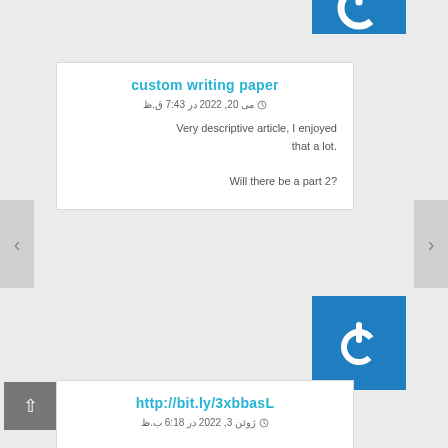[Figure (logo): Power button icon partially visible at top, blue background]
custom writing paper
⊙ می 20, 2022 در 7:43 ق.ظ
Very descriptive article, I enjoyed that a lot. Will there be a part 2?
[Figure (logo): Power button icon, white on blue background]
http://bit.ly/٣xbbasL
⊙ ژوئن 3, 2022 در 6:18 ب.ظ